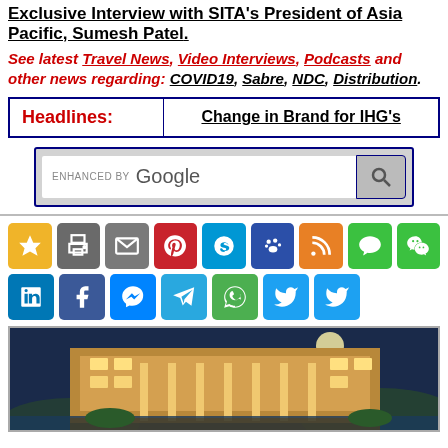Exclusive Interview with SITA's President of Asia Pacific, Sumesh Patel.
See latest Travel News, Video Interviews, Podcasts and other news regarding: COVID19, Sabre, NDC, Distribution.
| Headlines: | Change in Brand for IHG's |
| --- | --- |
[Figure (screenshot): Google search bar with search button, enhanced by Google]
[Figure (infographic): Social media sharing icons: star/bookmark (yellow), print (gray), email (gray), Pinterest (red), Skype (blue), paw/Baidu (blue), RSS (orange), LINE (green), WeChat (green), LinkedIn (blue), Facebook (blue), Messenger (blue), Telegram (blue), WhatsApp (green), Twitter (blue), Twitter (blue)]
[Figure (photo): Hotel building exterior at dusk/night, illuminated facade with landscaping]